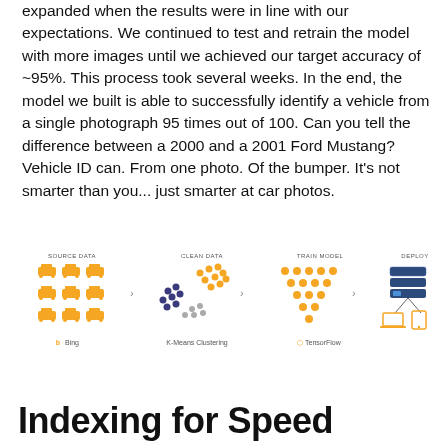expanded when the results were in line with our expectations. We continued to test and retrain the model with more images until we achieved our target accuracy of ~95%. This process took several weeks. In the end, the model we built is able to successfully identify a vehicle from a single photograph 95 times out of 100. Can you tell the difference between a 2000 and a 2001 Ford Mustang? Vehicle ID can. From one photo. Of the bumper. It's not smarter than you... just smarter at car photos.
[Figure (flowchart): ML pipeline flowchart with 4 stages: SOURCE DATA (car icons via Bing), CLEAN DATA (K-Means Clustering with dot clusters), TRAIN MODEL (TensorFlow dot grid), DEPLOY (server/device icons). Arrows connect each stage.]
Indexing for Speed